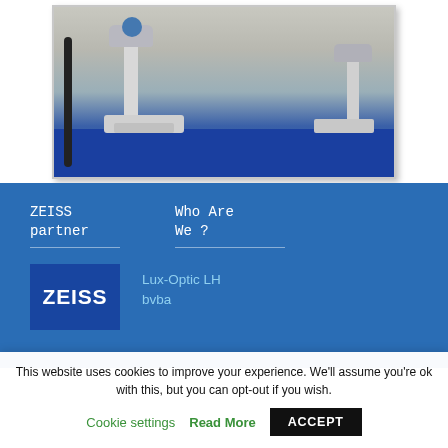[Figure (photo): Photograph of scientific microscopes (ZEISS instruments) on a blue table in a laboratory setting]
ZEISS partner
Who Are We ?
[Figure (logo): ZEISS logo — white text on blue square background]
Lux-Optic LH bvba
This website uses cookies to improve your experience. We'll assume you're ok with this, but you can opt-out if you wish.
Cookie settings
Read More
ACCEPT